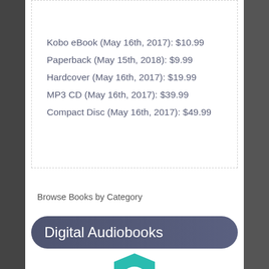Kobo eBook (May 16th, 2017): $10.99
Paperback (May 15th, 2018): $9.99
Hardcover (May 16th, 2017): $19.99
MP3 CD (May 16th, 2017): $39.99
Compact Disc (May 16th, 2017): $49.99
Browse Books by Category
Digital Audiobooks
[Figure (logo): Teal shield-shaped logo with wifi/signal waves]